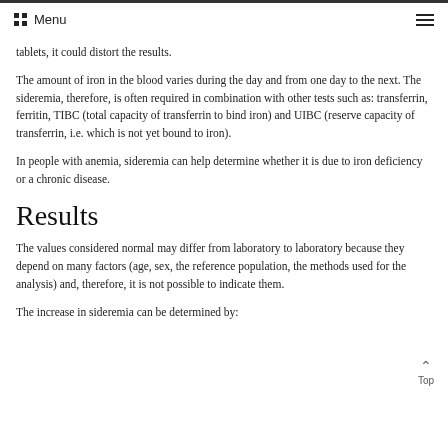Menu
tablets, it could distort the results.
The amount of iron in the blood varies during the day and from one day to the next. The sideremia, therefore, is often required in combination with other tests such as: transferrin, ferritin, TIBC (total capacity of transferrin to bind iron) and UIBC (reserve capacity of transferrin, i.e. which is not yet bound to iron).
In people with anemia, sideremia can help determine whether it is due to iron deficiency or a chronic disease.
Results
The values considered normal may differ from laboratory to laboratory because they depend on many factors (age, sex, the reference population, the methods used for the analysis) and, therefore, it is not possible to indicate them.
The increase in sideremia can be determined by: